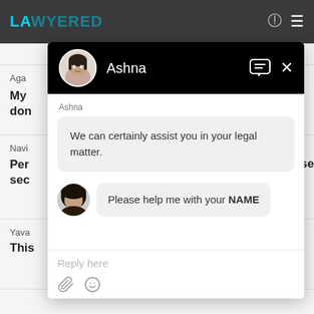[Figure (screenshot): Legal services website (Lawyered) with a chat widget overlay. The chat widget shows an agent named Ashna. It contains two messages: 'We can certainly assist you in your legal matter.' from the agent, and 'Please help me with your NAME' from the user. The widget has a reply input at the bottom.]
Ashna
We can certainly assist you in your legal matter.
Please help me with your NAME
Reply here